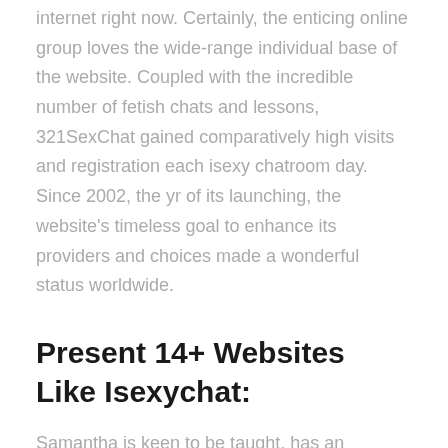internet right now. Certainly, the enticing online group loves the wide-range individual base of the website. Coupled with the incredible number of fetish chats and lessons, 321SexChat gained comparatively high visits and registration each isexy chatroom day. Since 2002, the yr of its launching, the website's timeless goal to enhance its providers and choices made a wonderful status worldwide.
Present 14+ Websites Like Isexychat:
Samantha is keen to be taught, has an analytical ideas, and is always tinged with humanism and empathy. She needs to share